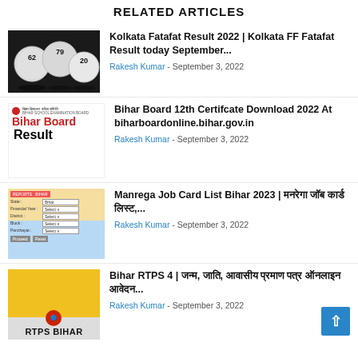RELATED ARTICLES
[Figure (photo): Black and white photo of lottery balls with numbers]
Kolkata Fatafat Result 2022 | Kolkata FF Fatafat Result today September...
Rakesh Kumar - September 3, 2022
[Figure (logo): Bihar Board Result logo with red text and Bihar School Examination Board branding]
Bihar Board 12th Certifcate Download 2022 At biharboardonline.bihar.gov.in
Rakesh Kumar - September 3, 2022
[Figure (screenshot): Screenshot of Manrega job card online form with dropdowns for State, District, Block, Panchayat]
Manrega Job Card List Bihar 2023 | मनरेगा जॉब कार्ड लिस्ट,...
Rakesh Kumar - September 3, 2022
[Figure (photo): RTPS Bihar yellow and dark promotional image]
Bihar RTPS 4 | इंट, जाति, आवासीय प्रमाण पत्र ऑनलाइन आवेदन...
Rakesh Kumar - September 3, 2022